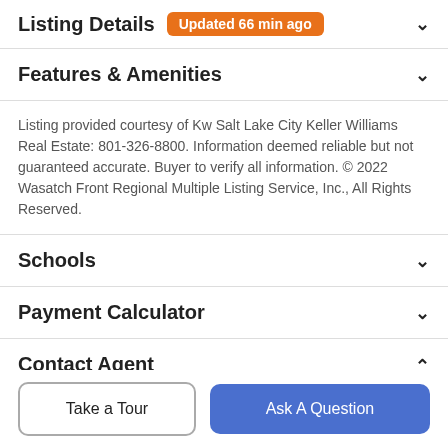Listing Details — Updated 66 min ago
Features & Amenities
Listing provided courtesy of Kw Salt Lake City Keller Williams Real Estate: 801-326-8800. Information deemed reliable but not guaranteed accurate. Buyer to verify all information. © 2022 Wasatch Front Regional Multiple Listing Service, Inc., All Rights Reserved.
Schools
Payment Calculator
Contact Agent
Take a Tour
Ask A Question